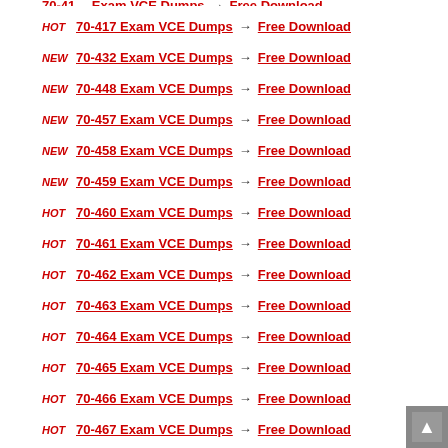HOT 70-417 Exam VCE Dumps → Free Download
NEW 70-432 Exam VCE Dumps → Free Download
NEW 70-448 Exam VCE Dumps → Free Download
NEW 70-457 Exam VCE Dumps → Free Download
NEW 70-458 Exam VCE Dumps → Free Download
NEW 70-459 Exam VCE Dumps → Free Download
HOT 70-460 Exam VCE Dumps → Free Download
HOT 70-461 Exam VCE Dumps → Free Download
HOT 70-462 Exam VCE Dumps → Free Download
HOT 70-463 Exam VCE Dumps → Free Download
HOT 70-464 Exam VCE Dumps → Free Download
HOT 70-465 Exam VCE Dumps → Free Download
HOT 70-466 Exam VCE Dumps → Free Download
HOT 70-467 Exam VCE Dumps → Free Download
HOT 70-469 Exam VCE Dumps → Free Download
NEW 70-470 Exam VCE Dumps → Free Download